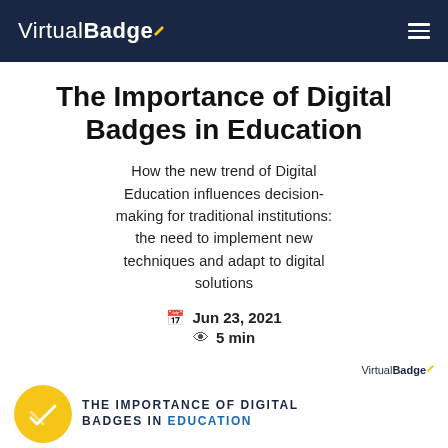VirtualBadge
The Importance of Digital Badges in Education
How the new trend of Digital Education influences decision-making for traditional institutions: the need to implement new techniques and adapt to digital solutions
Jun 23, 2021   5 min
[Figure (logo): VirtualBadge logo with yellow badge circle containing white checkmark/lines, with text THE IMPORTANCE OF DIGITAL BADGES IN EDUCATION in dark navy and blue]
THE IMPORTANCE OF DIGITAL BADGES IN EDUCATION